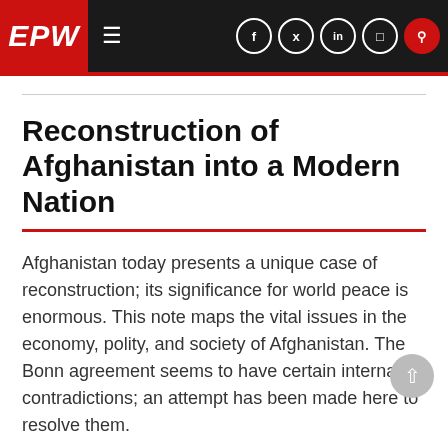EPW
Reconstruction of Afghanistan into a Modern Nation
Afghanistan today presents a unique case of reconstruction; its significance for world peace is enormous. This note maps the vital issues in the economy, polity, and society of Afghanistan. The Bonn agreement seems to have certain internal contradictions; an attempt has been made here to resolve them.
Read more